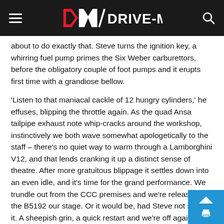DRIVE-MY
about to do exactly that. Steve turns the ignition key, a whirring fuel pump primes the Six Weber carburettors, before the obligatory couple of foot pumps and it erupts first time with a grandiose bellow.
'Listen to that maniacal cackle of 12 hungry cylinders,' he effuses, blipping the throttle again. As the quad Ansa tailpipe exhaust note whip-cracks around the workshop, instinctively we both wave somewhat apologetically to the staff – there's no quiet way to warm through a Lamborghini V12, and that lends cranking it up a distinct sense of theatre. After more gratuitous blippage it settles down into an even idle, and it's time for the grand performance. We trundle out from the CCC premises and we're released – the B5192 our stage. Or it would be, had Steve not stalled it. A sheepish grin, a quick restart and we're off again.